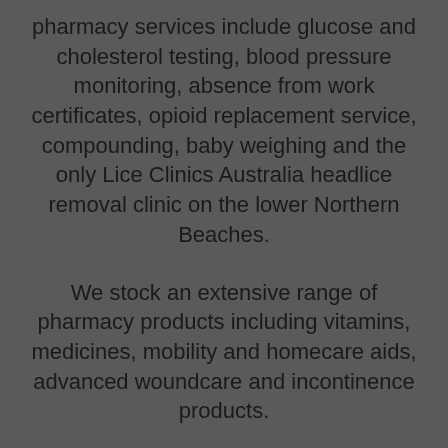pharmacy services include glucose and cholesterol testing, blood pressure monitoring, absence from work certificates, opioid replacement service, compounding, baby weighing and the only Lice Clinics Australia headlice removal clinic on the lower Northern Beaches.
We stock an extensive range of pharmacy products including vitamins, medicines, mobility and homecare aids, advanced woundcare and incontinence products.